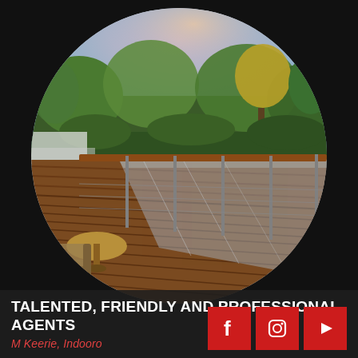[Figure (photo): Circular cropped photo of a modern wooden deck/balcony with glass and metal railing, outdoor furniture, and lush green garden/trees in the background at dusk.]
TALENTED, FRIENDLY AND PROFESSIONAL AGENTS
M Keerie, Indooro...
[Figure (logo): Three red square social media icons: Facebook (f), Instagram (camera), YouTube (play button)]